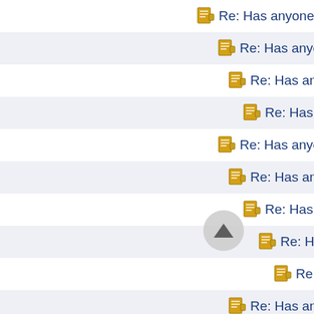Re: Has anyone had P
Re: Has anyone had
Re: Has anyone h
Re: Has anyon
Re: Has anyone had
Re: Has anyone h
Re: Has anyon
Re: Has any
Re: Has a
Re: Has anyone h
Re: Has anyon
Re: Has anyone h
Re: Has anyon
Re: Has any